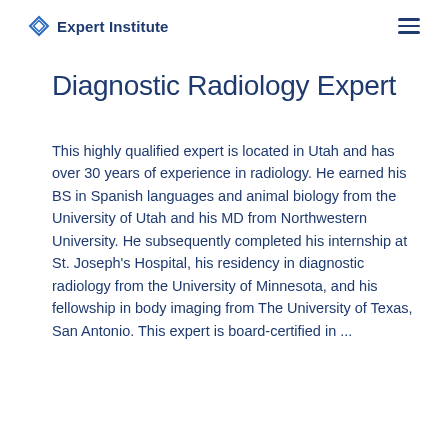Expert Institute
Diagnostic Radiology Expert
This highly qualified expert is located in Utah and has over 30 years of experience in radiology. He earned his BS in Spanish languages and animal biology from the University of Utah and his MD from Northwestern University. He subsequently completed his internship at St. Joseph's Hospital, his residency in diagnostic radiology from the University of Minnesota, and his fellowship in body imaging from The University of Texas, San Antonio. This expert is board-certified in ...